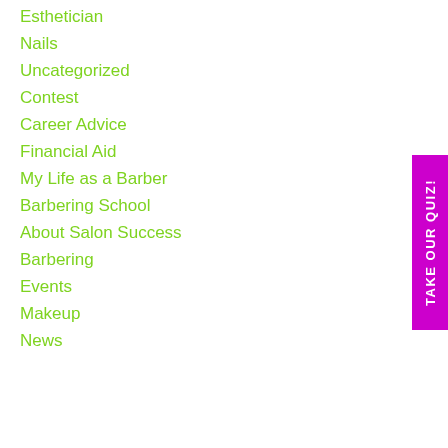Esthetician
Nails
Uncategorized
Contest
Career Advice
Financial Aid
My Life as a Barber
Barbering School
About Salon Success
Barbering
Events
Makeup
News
[Figure (other): Vertical magenta/purple tab on right side reading TAKE OUR QUIZ! in white rotated text]